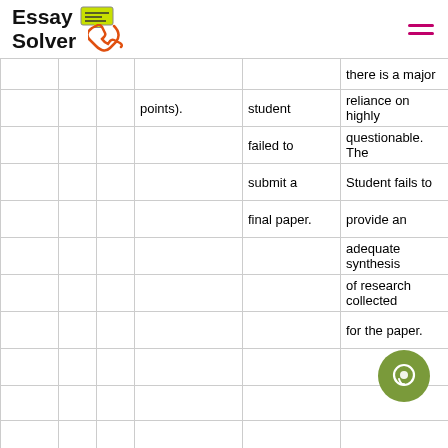Essay Solver
|  |  |  | points). | student / failed to / submit a / final paper. | there is a major reliance on highly questionable. The Student fails to provide an adequate synthesis of research collected for the paper. |
| --- | --- | --- | --- | --- | --- |
|  |  |  |  |  |  |
|  |  |  |  |  |  |
|  |  |  |  |  |  |
|  |  |  |  |  |  |
|  |  |  |  |  |  |
|  |  |  |  |  |  |
|  |  |  |  |  |  |
5 points out of 20: